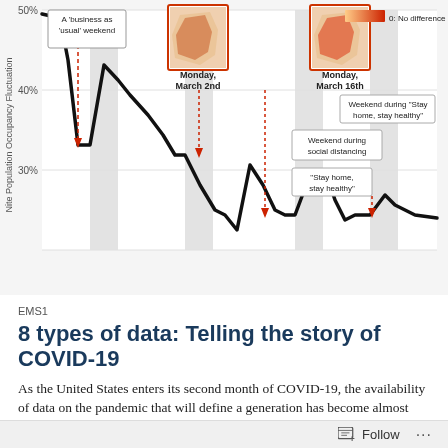[Figure (continuous-plot): Line chart showing Nite Population Occupancy Fluctuation over time from before March 2nd to late March. The y-axis shows percentages (30%, 40%, 50%). A thick black line starts near 50%, dips sharply around a 'business as usual' weekend, rebounds to ~47%, then declines steeply through Monday March 2nd and continues falling through Monday March 16th to under 30%, with a brief uptick then further drops. Annotated events include: A 'business as usual' weekend (dashed red arrow), Monday March 2nd, Monday March 16th, Weekend during social distancing, 'Stay home, stay healthy' policy, and Weekend during 'Stay home, stay healthy'. Small map insets appear above the March 2nd and March 16th annotations showing geographic heat maps. A legend shows: 0: No difference with an orange-to-red color gradient.]
EMS1
8 types of data: Telling the story of COVID-19
As the United States enters its second month of COVID-19, the availability of data on the pandemic that will define a generation has become almost overwhelming. Websites abound with tables, graphics and projections